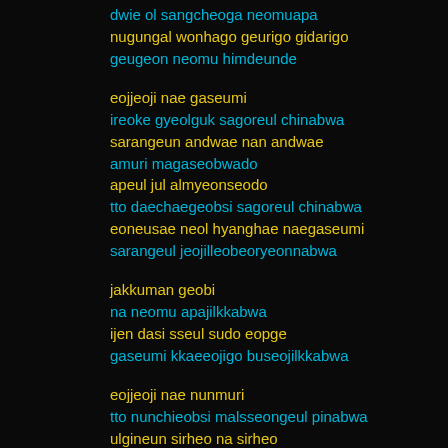dwie ol sangcheoga neomuapa
nugungal wonhago geurigo gidarigo
geugeon neomu himdeunde
eojjeoji nae gaseumi
ireoke gyeolguk sagoreul chinabwa
sarangeun andwae nan andwae
amuri magaseobwado
apeul jul almyeonseodo
tto daechaegeobsi sagoreul chinabwa
eoneusae neol hyanghae naegaseumi
sarangeul jeojilleobeoryeonnabwa
jakkuman geobi
na neomu apajilkkabwa
ijen dasi sseul sudo eopge
gaseumi kkaeeojigo buseojilkkabwa
eojjeoji nae nunmuri
tto nunchieobsi malsseongeul pinabwa
ulgineun sirheo na sirheo
amuri chamanaebwado